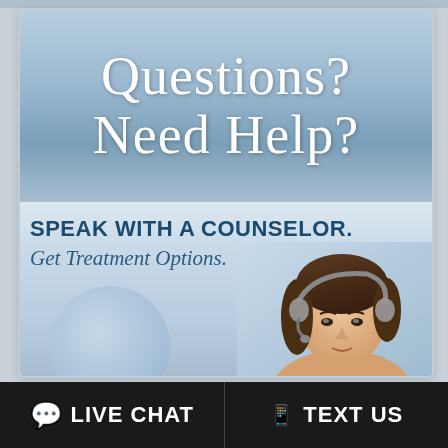Questions?
Need Help?
SPEAK WITH A COUNSELOR. Get Treatment Options.
[Figure (illustration): Woman with headset, representing a counselor, with a circular bubble element on the left side of the lower panel]
LIVE CHAT
TEXT US